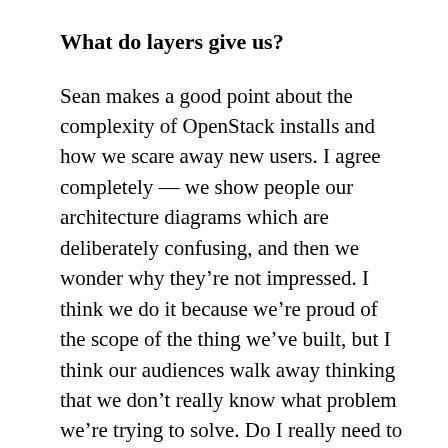What do layers give us?
Sean makes a good point about the complexity of OpenStack installs and how we scare away new users. I agree completely — we show people our architecture diagrams which are deliberately confusing, and then we wonder why they're not impressed. I think we do it because we're proud of the scope of the thing we've built, but I think our audiences walk away thinking that we don't really know what problem we're trying to solve. Do I really need to deploy Horizon to have working compute? No of course